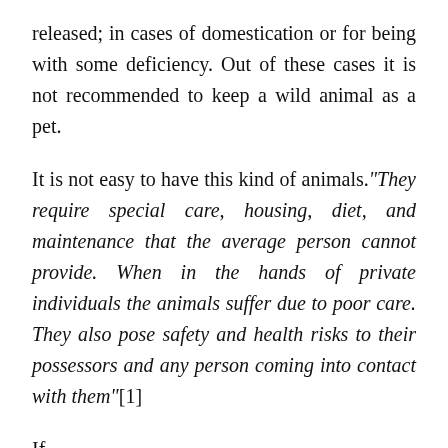released; in cases of domestication or for being with some deficiency. Out of these cases it is not recommended to keep a wild animal as a pet.
It is not easy to have this kind of animals."They require special care, housing, diet, and maintenance that the average person cannot provide. When in the hands of private individuals the animals suffer due to poor care. They also pose safety and health risks to their possessors and any person coming into contact with them"[1]
If...